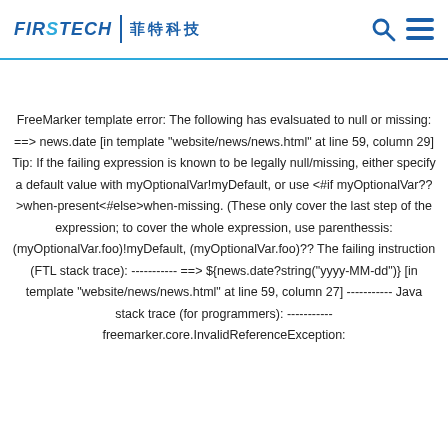FIRSTECH | 菲特科技
FreeMarker template error: The following has evalsuated to null or missing: ==> news.date [in template "website/news/news.html" at line 59, column 29] Tip: If the failing expression is known to be legally null/missing, either specify a default value with myOptionalVar!myDefault, or use <#if myOptionalVar??>when-present<#else>when-missing. (These only cover the last step of the expression; to cover the whole expression, use parenthessis: (myOptionalVar.foo)!myDefault, (myOptionalVar.foo)?? The failing instruction (FTL stack trace): ----------- ==> ${news.date?string("yyyy-MM-dd")} [in template "website/news/news.html" at line 59, column 27] ----------- Java stack trace (for programmers): ----------- freemarker.core.InvalidReferenceException: